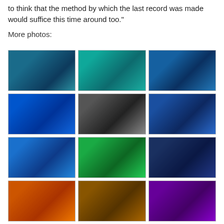to think that the method by which the last record was made would suffice this time around too."
More photos:
[Figure (photo): Concert photo: musician at keyboard with blue stage lighting]
[Figure (photo): Concert photo: musician with teal/green stage lighting]
[Figure (photo): Concert photo: musician at microphone with blue stage lighting]
[Figure (photo): Concert photo: guitarist on blue-lit stage]
[Figure (photo): Concert photo: musician standing at microphone, black and white]
[Figure (photo): Concert photo: musician with guitar on blue-lit stage]
[Figure (photo): Concert photo: musician with long hair at microphone, blue light]
[Figure (photo): Concert photo: musician at keyboard with green stage lighting]
[Figure (photo): Concert photo: figure on dark blue-lit stage]
[Figure (photo): Concert photo: warm orange/red abstract stage lighting]
[Figure (photo): Concert photo: amber/brown warm stage lighting]
[Figure (photo): Concert photo: purple stage lighting with musicians]